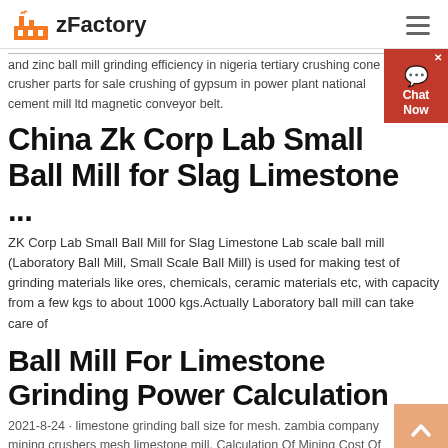zFactory
and zinc ball mill grinding efficiency in nigeria tertiary crushing cone crusher parts for sale crushing of gypsum in power plant national cement mill ltd magnetic conveyor belt.
China Zk Corp Lab Small Ball Mill for Slag Limestone ...
ZK Corp Lab Small Ball Mill for Slag Limestone Lab scale ball mill (Laboratory Ball Mill, Small Scale Ball Mill) is used for making test of grinding materials like ores, chemicals, ceramic materials etc, with capacity from a few kgs to about 1000 kgs.Actually Laboratory ball mill can take care of
Ball Mill For Limestone Grinding Power Calculation
2021-8-24 · limestone grinding ball size for mesh. zambia company mining crushers mesh limestone mill. Calculation Of Mining Cost Of